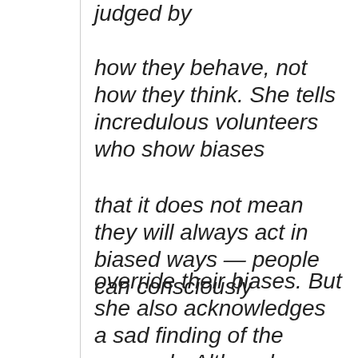judged by
how they behave, not how they think. She tells incredulous volunteers who show biases
that it does not mean they will always act in biased ways — people can consciously
override their biases. But she also acknowledges a sad finding of the research: Although